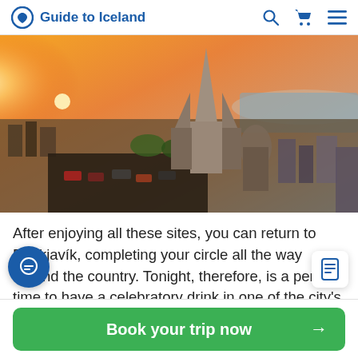Guide to Iceland
[Figure (photo): Aerial drone view of Reykjavik at sunset showing Hallgrímskirkja church prominently in the center, surrounded by the city with mountains and water in the background, warm orange golden hour lighting]
After enjoying all these sites, you can return to Reykjavík, completing your circle all the way around the country. Tonight, therefore, is a perfect time to have a celebratory drink in one of the city's many quirky bar
Book your trip now →